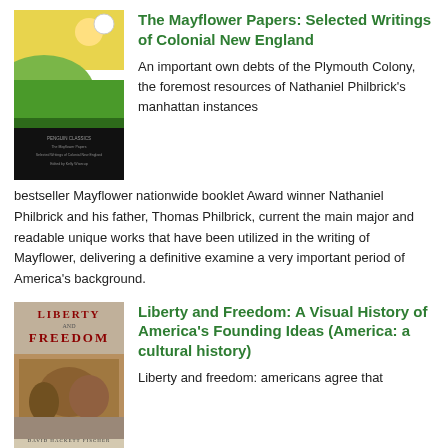[Figure (illustration): Book cover of The Mayflower Papers: Selected Writings of Colonial New England, showing a green and yellow landscape scene with dark bottom band]
The Mayflower Papers: Selected Writings of Colonial New England
An important own debts of the Plymouth Colony, the foremost resources of Nathaniel Philbrick's manhattan instances bestseller Mayflower nationwide booklet Award winner Nathaniel Philbrick and his father, Thomas Philbrick, current the main major and readable unique works that have been utilized in the writing of Mayflower, delivering a definitive examine a very important period of America's background.
[Figure (illustration): Book cover of Liberty and Freedom: A Visual History of America's Founding Ideas, showing large red text title and a painting of historical scene]
Liberty and Freedom: A Visual History of America's Founding Ideas (America: a cultural history)
Liberty and freedom: americans agree that